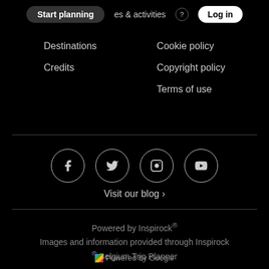Start planning | places & activities | Log in
Destinations
Credits
Cookie policy
Copyright policy
Terms of use
[Figure (illustration): Social media icons in circles: Facebook, Twitter, Instagram, YouTube]
Visit our blog ›
Powered by Inspirock®
Images and information provided through Inspirock ® Belgium Trip Planner
[Figure (logo): Powered by Google badge]